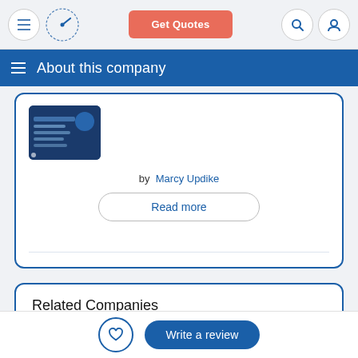Get Quotes
About this company
[Figure (screenshot): Thumbnail image of an insurance document/form with blue and dark background]
by Marcy Updike
Read more
Related Companies
Write a review